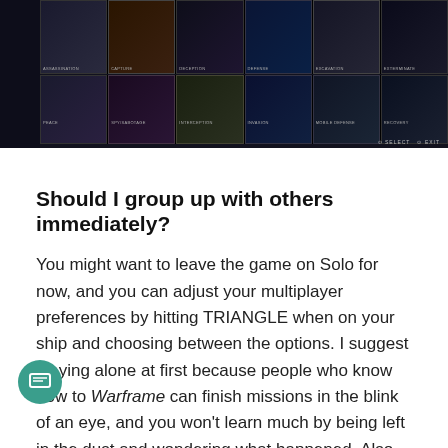[Figure (screenshot): A game UI screenshot showing a mission selection grid in Warframe. Multiple mission type cards are displayed in rows with labels like ASSASSINATION, CAPTURE, DECEPTION, DEFENSE, EXCAVATION, EXTERMINATE, MOBILE DEFENSE, RECOVERY, INTERCEPTION, INVASION, and others. Each card shows a character or scene image in dark tones. Bottom right shows SELECT and EXIT buttons.]
Should I group up with others immediately?
You might want to leave the game on Solo for now, and you can adjust your multiplayer preferences by hitting TRIANGLE when on your ship and choosing between the options. I suggest playing alone at first because people who know how to Warframe can finish missions in the blink of an eye, and you won't learn much by being left in the dust and wondering what happened. Also, playing alone makes the game feel different — by being the only